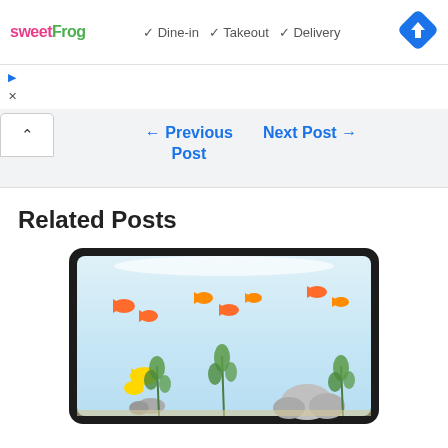[Figure (logo): sweetFrog logo with pink 'sweet' and green 'Frog' text]
✓ Dine-in  ✓ Takeout  ✓ Delivery
[Figure (other): Blue diamond navigation/directions icon]
▷
×
← Previous Post
Next Post →
Related Posts
[Figure (illustration): Aquarium fish tank illustration with orange fish, green plants, rocks, and bright background lighting]